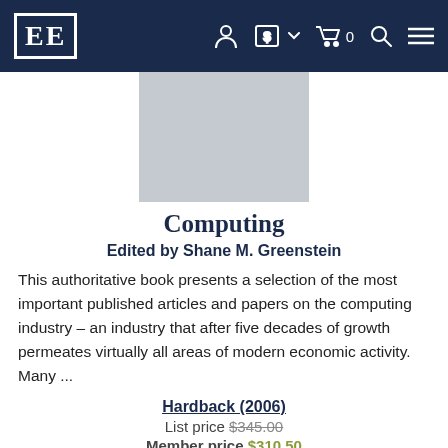EE [logo] navigation bar with account, currency, cart, search, menu icons
[Figure (illustration): Book cover placeholder — light grey rectangle]
Computing
Edited by Shane M. Greenstein
This authoritative book presents a selection of the most important published articles and papers on the computing industry – an industry that after five decades of growth permeates virtually all areas of modern economic activity. Many ...
Hardback (2006)
List price $345.00
Member price $310.50